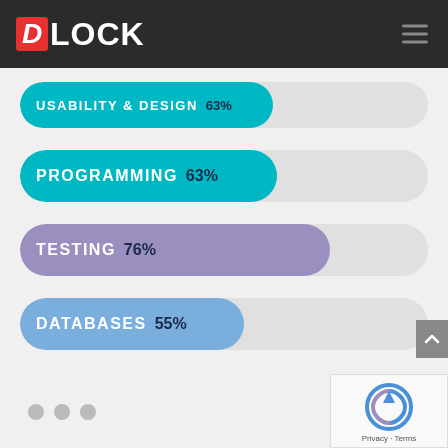DLOCK
[Figure (bar-chart): Skills Progress Bars]